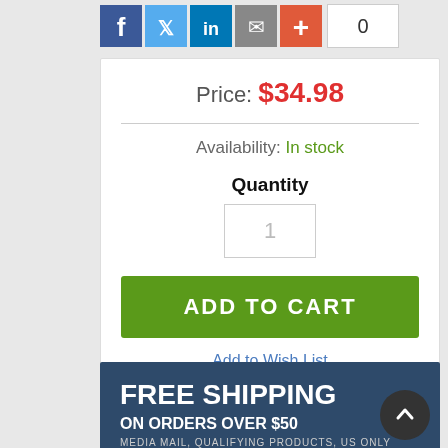[Figure (infographic): Social sharing icons: Facebook (blue), Twitter (light blue), LinkedIn (blue), Email (grey), Plus/share (orange-red), and a share count box showing 0]
Price: $34.98
Availability: In stock
Quantity
1
ADD TO CART
Add to Wish List
[Figure (infographic): Free shipping banner: FREE SHIPPING ON ORDERS OVER $50 MEDIA MAIL, QUALIFYING PRODUCTS, US ONLY on dark blue background]